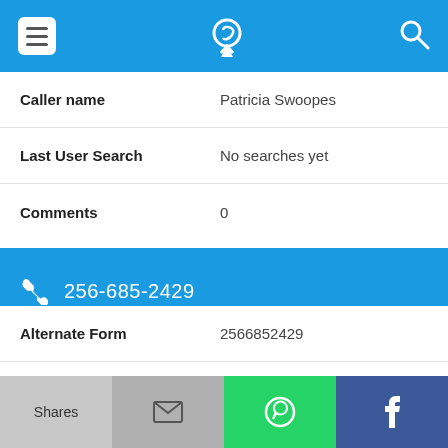[Figure (screenshot): Mobile app top navigation bar with hamburger menu icon, phone/location pin icon, and search icon on blue background]
Caller name: Patricia Swoopes
Last User Search: No searches yet
Comments: 0
256-685-2429
Alternate Form: 2566852429
Caller name: Rodger Counts
Last User Search: No searches yet (partially visible)
Shares | Email | WhatsApp | Facebook